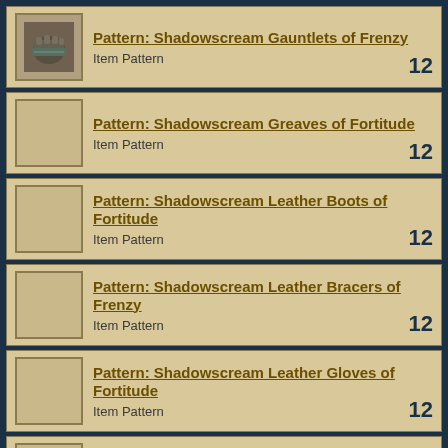Pattern: Shadowscream Gauntlets of Frenzy
Item Pattern
Pattern: Shadowscream Greaves of Fortitude
Item Pattern
Pattern: Shadowscream Leather Boots of Fortitude
Item Pattern
Pattern: Shadowscream Leather Bracers of Frenzy
Item Pattern
Pattern: Shadowscream Leather Gloves of Fortitude
Item Pattern
Pattern: Shadowscream Leather Helm of Force
Item Pattern
Pattern: Shadowscream Leather Helm of Frenzy
Item Pattern